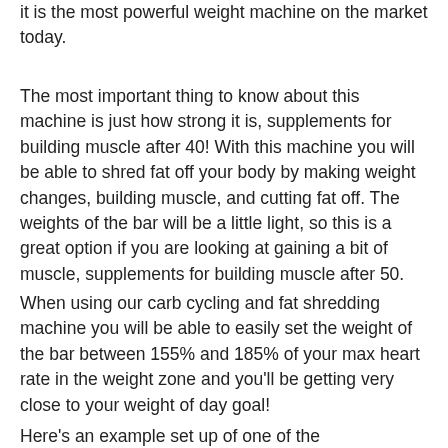it is the most powerful weight machine on the market today.
The most important thing to know about this machine is just how strong it is, supplements for building muscle after 40! With this machine you will be able to shred fat off your body by making weight changes, building muscle, and cutting fat off. The weights of the bar will be a little light, so this is a great option if you are looking at gaining a bit of muscle, supplements for building muscle after 50.
When using our carb cycling and fat shredding machine you will be able to easily set the weight of the bar between 155% and 185% of your max heart rate in the weight zone and you’ll be getting very close to your weight of day goal!
Here’s an example set up of one of the